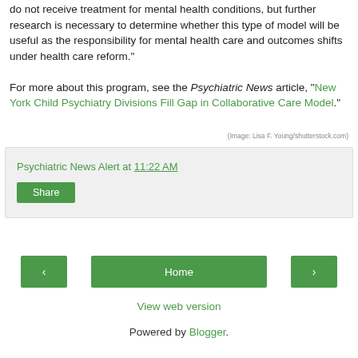do not receive treatment for mental health conditions, but further research is necessary to determine whether this type of model will be useful as the responsibility for mental health care and outcomes shifts under health care reform."
For more about this program, see the Psychiatric News article, "New York Child Psychiatry Divisions Fill Gap in Collaborative Care Model."
(Image: Lisa F. Young/shutterstock.com)
Psychiatric News Alert at 11:22 AM
Share
Home
View web version
Powered by Blogger.